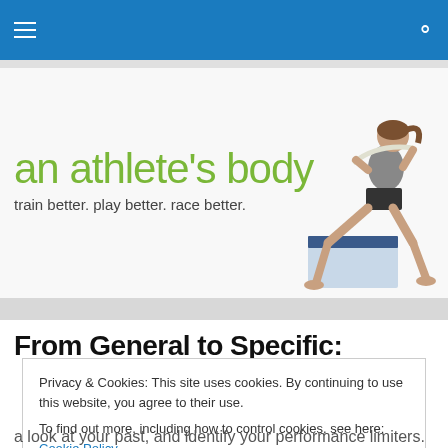Navigation bar with hamburger menu and search icon
[Figure (illustration): Website header banner for 'an athlete's body' blog with green logo text, tagline 'train better. play better. race better.' and a photo of a woman doing a lunge exercise with a resistance band]
From General to Specific:
Privacy & Cookies: This site uses cookies. By continuing to use this website, you agree to their use.
To find out more, including how to control cookies, see here: Cookie Policy
Close and accept
a look at your past, and identify your performance limiters.